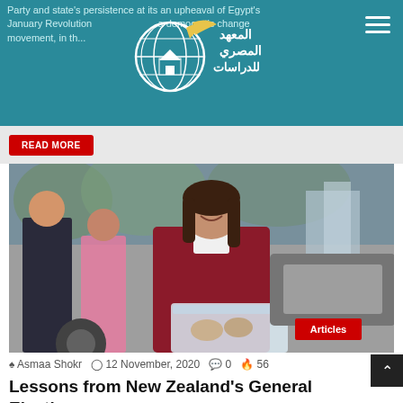Party and state's persistence at its an upheaval of Egypt's January Revolution ... a democratic change movement, in the ...
[Figure (logo): Al-Masry Al-Arabi Institute for Studies logo with globe and Arabic text]
Read more
[Figure (photo): Woman smiling in a maroon cardigan holding a plastic container, other people and cars in background. Red 'Articles' badge in bottom right.]
Asmaa Shokr  12 November, 2020  0  56
Lessons from New Zealand's General Elections
The international and Arab media outlets have been